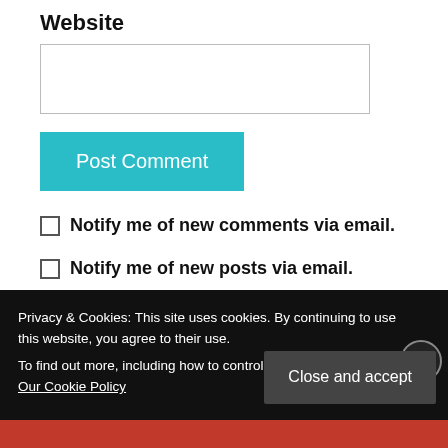Website
[Figure (other): Website text input field, empty]
[Figure (other): Post Comment button (teal/cyan background)]
Notify me of new comments via email.
Notify me of new posts via email.
This site uses Akismet to reduce spam. Learn how your
Privacy & Cookies: This site uses cookies. By continuing to use this website, you agree to their use. To find out more, including how to control cookies, see here: Our Cookie Policy
[Figure (other): Close and accept button on cookie banner]